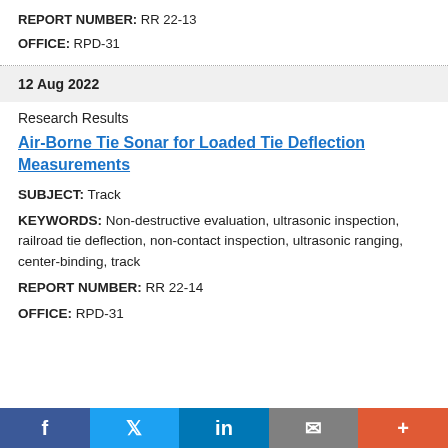REPORT NUMBER: RR 22-13
OFFICE: RPD-31
12 Aug 2022
Research Results
Air-Borne Tie Sonar for Loaded Tie Deflection Measurements
SUBJECT: Track
KEYWORDS: Non-destructive evaluation, ultrasonic inspection, railroad tie deflection, non-contact inspection, ultrasonic ranging, center-binding, track
REPORT NUMBER: RR 22-14
OFFICE: RPD-31
f  [Twitter bird]  in  [mail]  +